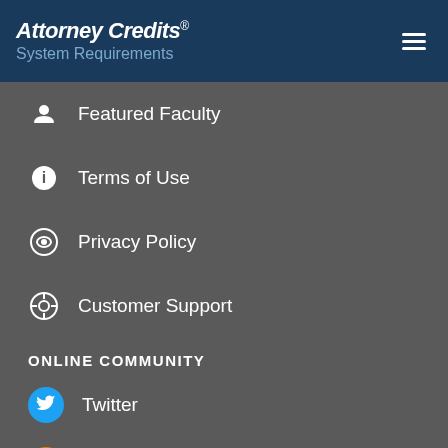Attorney Credits® System Requirements
Featured Faculty
Terms of Use
Privacy Policy
Customer Support
ONLINE COMMUNITY
Twitter
MCLE Blog
Facebook